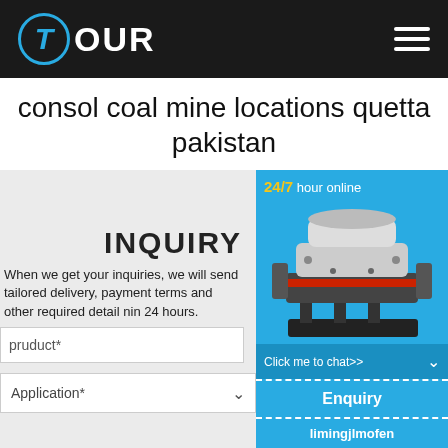T OUR
consol coal mine locations quetta pakistan
INQUIRY
When we get your inquiries, we will send tailored delivery, payment terms and other required detail within 24 hours.
pruduct*
Application*
[Figure (photo): Industrial cone crusher machine on blue background with 24/7 hour online text]
Click me to chat>>
Enquiry
limingjlmofen